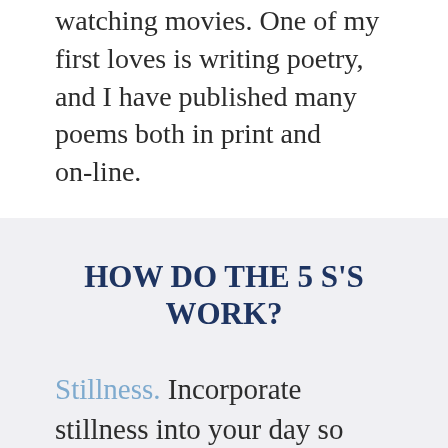watching movies. One of my first loves is writing poetry, and I have published many poems both in print and on-line.
HOW DO THE 5 S'S WORK?
Stillness. Incorporate stillness into your day so